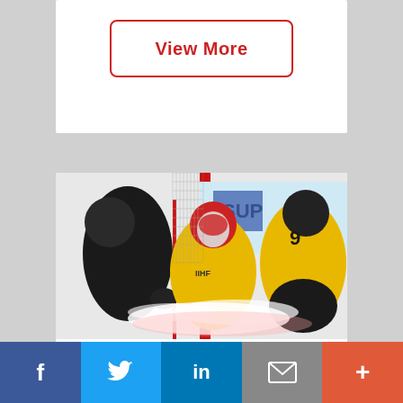View More
[Figure (photo): Ice hockey action shot showing a goalie in yellow uniform making a save with ice spray, flanked by player in black and player in yellow #9 jersey, red goal posts visible in background]
FORTY THREE
f  Twitter  in  Email  +